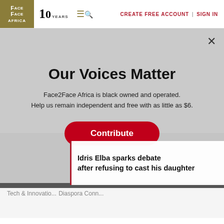Face2Face Africa | CREATE FREE ACCOUNT | SIGN IN
Our Voices Matter
Face2Face Africa is black owned and operated.
Help us remain independent and free with as little as $6.
Contribute
Idris Elba sparks debate after refusing to cast his daughter
Tech & Innovation
Diaspora Conn...
We use cookies to collect and analyse information on site performance and usage, and to enhance and customise content and advertising... By clicking "Accept" or clicking into any content
[Figure (screenshot): BitLife advertisement banner with rainbow stripe, showing 'WHEN REAL LIFE IS QUARANTINED' text and BitLife logo with emoji characters]